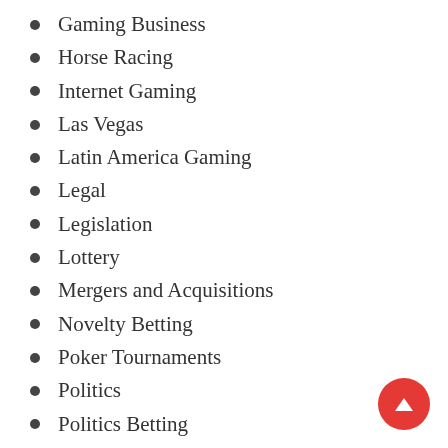Gaming Business
Horse Racing
Internet Gaming
Las Vegas
Latin America Gaming
Legal
Legislation
Lottery
Mergers and Acquisitions
Novelty Betting
Poker Tournaments
Politics
Politics Betting
Regulation
Research
Review casino
Rumors
Scandals